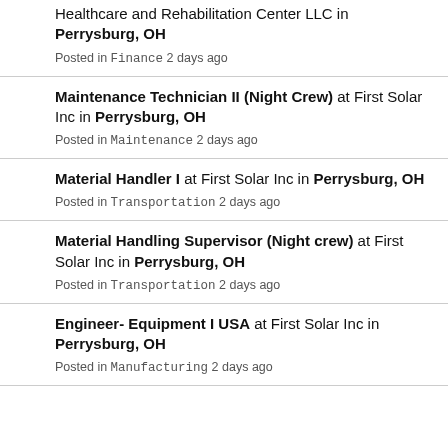Healthcare and Rehabilitation Center LLC in Perrysburg, OH
Posted in Finance 2 days ago
Maintenance Technician II (Night Crew) at First Solar Inc in Perrysburg, OH
Posted in Maintenance 2 days ago
Material Handler I at First Solar Inc in Perrysburg, OH
Posted in Transportation 2 days ago
Material Handling Supervisor (Night crew) at First Solar Inc in Perrysburg, OH
Posted in Transportation 2 days ago
Engineer- Equipment I USA at First Solar Inc in Perrysburg, OH
Posted in Manufacturing 2 days ago